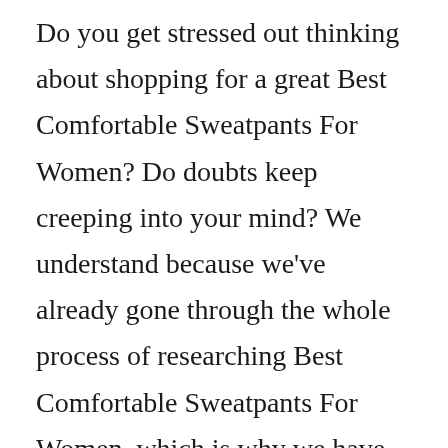Do you get stressed out thinking about shopping for a great Best Comfortable Sweatpants For Women? Do doubts keep creeping into your mind? We understand because we've already gone through the whole process of researching Best Comfortable Sweatpants For Women, which is why we have assembled a comprehensive list of the greatest Best Comfortable Sweatpants For Women available in the current market. We've also come up with a list of questions that you probably have yourself.

We've done the best we can with our thoughts and recommendations, but it's still crucial that you do